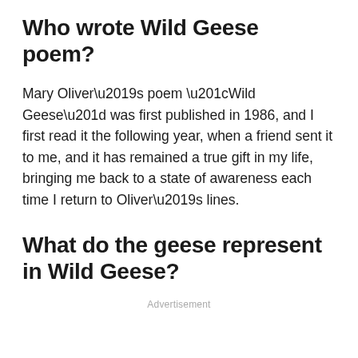Who wrote Wild Geese poem?
Mary Oliver’s poem “Wild Geese” was first published in 1986, and I first read it the following year, when a friend sent it to me, and it has remained a true gift in my life, bringing me back to a state of awareness each time I return to Oliver’s lines.
What do the geese represent in Wild Geese?
Advertisement